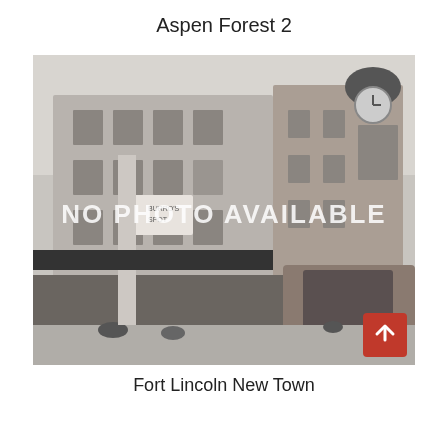Aspen Forest 2
[Figure (photo): Black and white photo of a mixed-use urban building with clock tower (Fort Lincoln New Town), street-level shops with outdoor seating, overlaid with 'NO PHOTO AVAILABLE' watermark text]
Fort Lincoln New Town